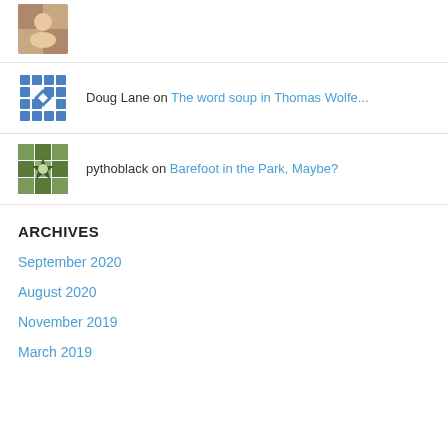Doug Lane on The word soup in Thomas Wolfe...
pythoblack on Barefoot in the Park, Maybe?
ARCHIVES
September 2020
August 2020
November 2019
March 2019